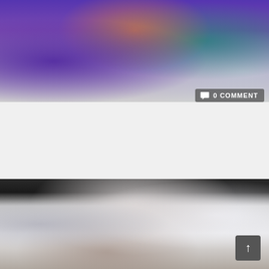[Figure (photo): Top portion of a person wearing a colorful patterned dress with blue, purple, orange, teal and white abstract print]
Trans girl titties
ADMIN • MAY 30, 2021
[Figure (photo): Person with blonde hair wearing a white top/dress, posed sitting, lower body partially visible]